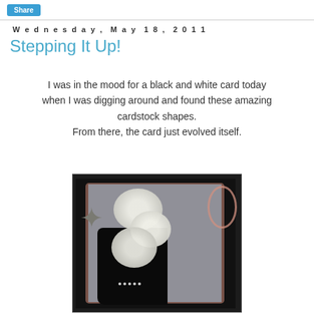Share
Wednesday, May 18, 2011
Stepping It Up!
I was in the mood for a black and white card today when I was digging around and found these amazing cardstock shapes.
From there, the card just evolved itself.
[Figure (photo): Photo of a handmade black and white greeting card featuring a high heel shoe silhouette, white daisy flowers, a metallic star, pink swirl decorations, and rhinestone embellishments on a gray and salmon-colored layered cardstock background.]